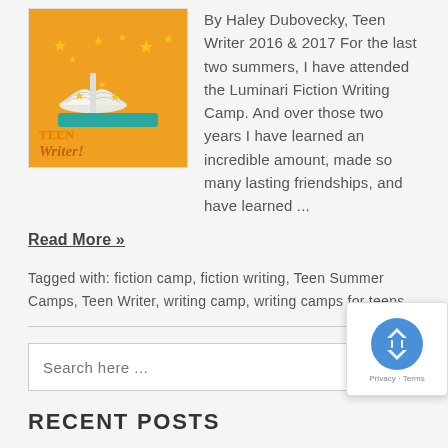[Figure (illustration): Orange background illustration of an open book with gold stars floating above it, labeled 'TEEN Writer!' at the bottom left in orange text.]
By Haley Dubovecky, Teen Writer 2016 & 2017 For the last two summers, I have attended the Luminari Fiction Writing Camp. And over those two years I have learned an incredible amount, made so many lasting friendships, and have learned ...
Read More »
Tagged with: fiction camp, fiction writing, Teen Summer Camps, Teen Writer, writing camp, writing camps for teens
Search here ...
RECENT POSTS